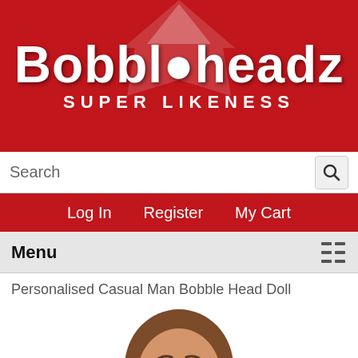[Figure (logo): Bobbleheadz Super Likeness logo on red background with white decorative element]
Search
Log In   Register   My Cart
Menu
Personalised Casual Man Bobble Head Doll
[Figure (photo): Cartoon-style bobble head doll of a man with long brown hair, beard, smiling, wearing a blue and white top]